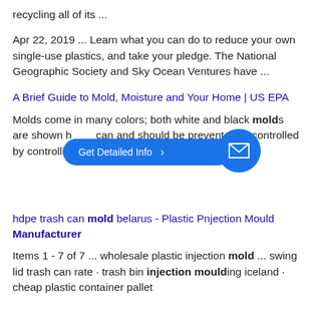recycling all of its ...
Apr 22, 2019 ... Learn what you can do to reduce your own single-use plastics, and take your pledge. The National Geographic Society and Sky Ocean Ventures have ...
A Brief Guide to Mold, Moisture and Your Home | US EPA
Molds come in many colors; both white and black molds are shown h... g...can and should be prevented or controlled by controlling ...
hdpe trash can mold belarus - Plastic Pnjection Mould Manufacturer
Items 1 - 7 of 7 ... wholesale plastic injection mold ... swing lid trash can rate · trash bin injection moulding iceland · cheap plastic container pallet